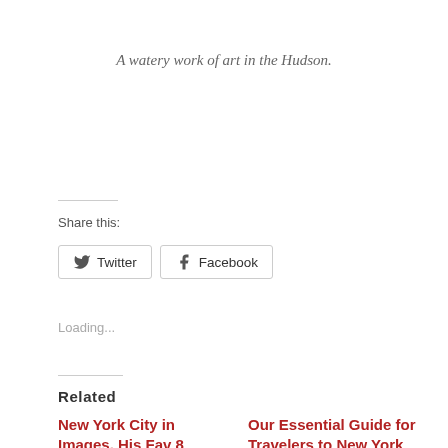A watery work of art in the Hudson.
Share this:
Twitter  Facebook
Loading...
Related
New York City in Images, His Fav 8
January 16, 2016
In "Destinations"
Our Essential Guide for Travelers to New York City
July 17, 2018
In "Places"